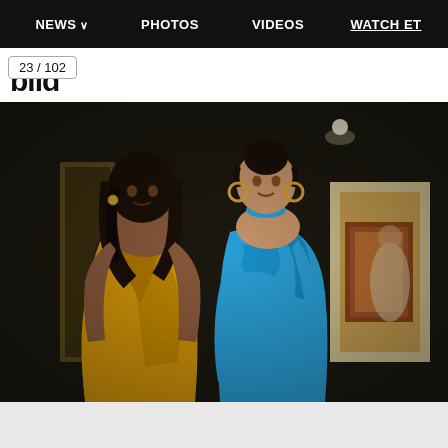NEWS  PHOTOS  VIDEOS  WATCH ET
...id  23 / 102
[Figure (photo): Two women posing together at an event. The woman on the left wears a deep-cut yellow/golden halter dress with dark wavy hair. The woman on the right wears a blue long-sleeve turtleneck draped dress with large hoop earrings and hair pulled up. Dark interior venue background with warm lighting and a framed artwork visible in the back right.]